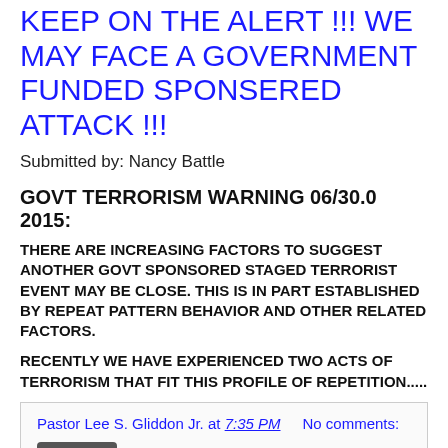KEEP ON THE ALERT !!! WE MAY FACE A GOVERNMENT FUNDED SPONSERED ATTACK !!!
Submitted by: Nancy Battle
GOVT TERRORISM WARNING 06/30.0 2015:
THERE ARE INCREASING FACTORS TO SUGGEST ANOTHER GOVT SPONSORED STAGED TERRORIST EVENT MAY BE CLOSE. THIS IS IN PART ESTABLISHED BY REPEAT PATTERN BEHAVIOR AND OTHER RELATED FACTORS.
RECENTLY WE HAVE EXPERIENCED TWO ACTS OF TERRORISM THAT FIT THIS PROFILE OF REPETITION.....
Pastor Lee S. Gliddon Jr. at 7:35 PM    No comments:
Share
CHUCK KOLB 06/30/2015